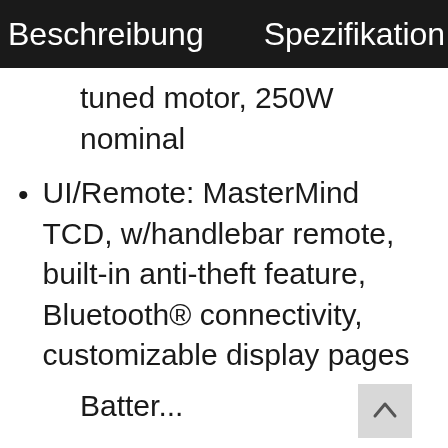Beschreibung    Spezifikation
tuned motor, 250W nominal
UI/Remote: MasterMind TCD, w/handlebar remote, built-in anti-theft feature, Bluetooth® connectivity, customizable display pages
Batter...